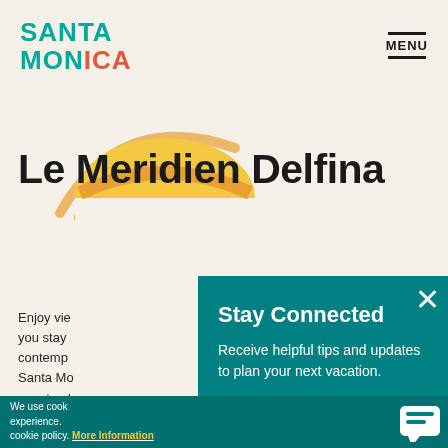[Figure (logo): Santa Monica travel destination logo with teal and orange text]
MENU
[Figure (illustration): Stylized sunrise/sunset icon with yellow semicircle and orange arcs on beige background]
Le Meridien Delfina
Enjoy vie... you stay... contemp... Santa Mo... guests, d... champa... views, p...
Stay Connected
Receive helpful tips and updates to plan your next vacation.
SIGN UP
We use cook... experience.... cookie policy. More Information